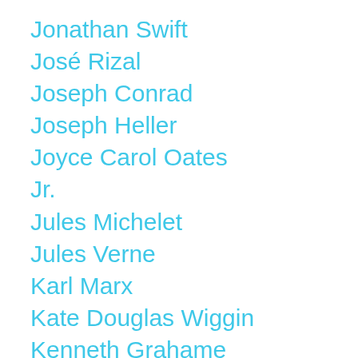Jonathan Swift
José Rizal
Joseph Conrad
Joseph Heller
Joyce Carol Oates
Jr.
Jules Michelet
Jules Verne
Karl Marx
Kate Douglas Wiggin
Kenneth Grahame
Knut Hamsun
Kurt Vonnegut